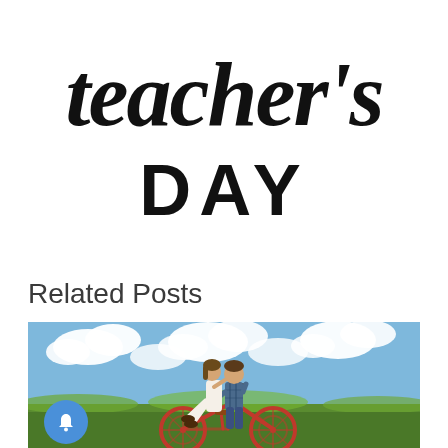[Figure (illustration): Hand-lettered Teacher's Day text graphic in black on white background. 'teacher's' in script/brush lettering at top, 'DAY' in bold block letters below.]
Related Posts
[Figure (photo): A couple on a red bicycle in a green field under a blue cloudy sky. A man in a plaid shirt is riding a red bicycle while a woman in a white dress sits sideways on the handlebars, leaning in toward him.]